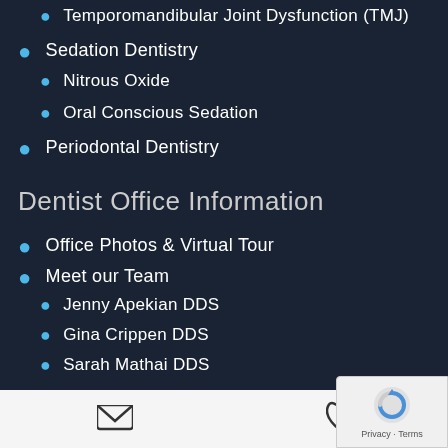Temporomandibular Joint Dysfunction (TMJ)
Sedation Dentistry
Nitrous Oxide
Oral Conscious Sedation
Periodontal Dentistry
Dentist Office Information
Office Photos & Virtual Tour
Meet our Team
Jenny Apekian DDS
Gina Crippen DDS
Sarah Mathai DDS
Art Gallery